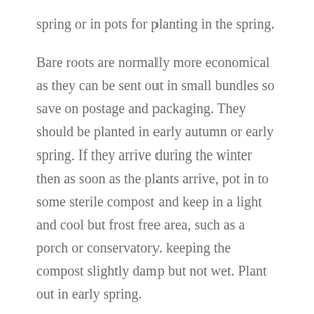spring or in pots for planting in the spring.
Bare roots are normally more economical as they can be sent out in small bundles so save on postage and packaging. They should be planted in early autumn or early spring. If they arrive during the winter then as soon as the plants arrive, pot in to some sterile compost and keep in a light and cool but frost free area, such as a porch or conservatory. keeping the compost slightly damp but not wet. Plant out in early spring.
Ready grown pots of strawberries can also be bought, usually in early spring for planting straight away.
Strawberries need to be planted in a bed that has been cleared of all perennial weeds and they will occupy the